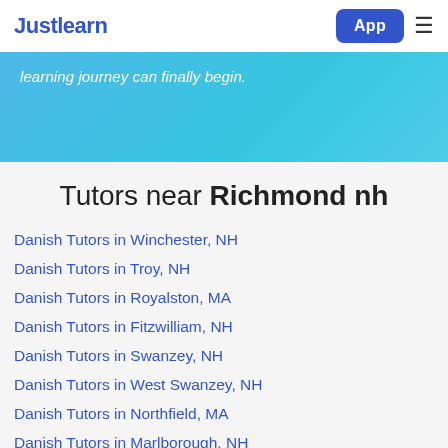Justlearn | App
learning journey can finally begin.
Tutors near Richmond nh
Danish Tutors in Winchester, NH
Danish Tutors in Troy, NH
Danish Tutors in Royalston, MA
Danish Tutors in Fitzwilliam, NH
Danish Tutors in Swanzey, NH
Danish Tutors in West Swanzey, NH
Danish Tutors in Northfield, MA
Danish Tutors in Marlborough, NH
Danish Tutors in Hinsdale, NH